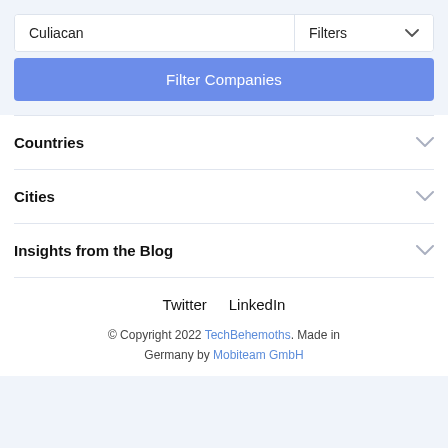Culiacan
Filters
Filter Companies
Countries
Cities
Insights from the Blog
Twitter  LinkedIn
© Copyright 2022 TechBehemoths. Made in Germany by Mobiteam GmbH